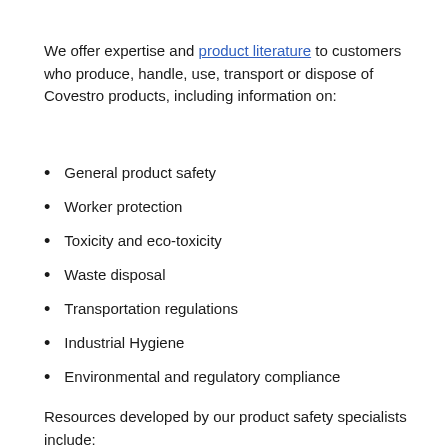We offer expertise and product literature to customers who produce, handle, use, transport or dispose of Covestro products, including information on:
General product safety
Worker protection
Toxicity and eco-toxicity
Waste disposal
Transportation regulations
Industrial Hygiene
Environmental and regulatory compliance
Resources developed by our product safety specialists include:
Safety Data Sheets (SDS)...